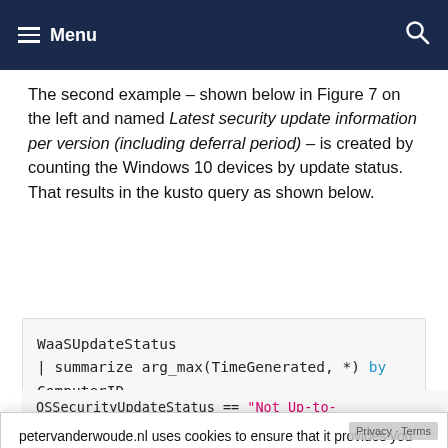Menu
The second example – shown below in Figure 7 on the left and named Latest security update information per version (including deferral period) – is created by counting the Windows 10 devices by update status. That results in the kusto query as shown below.
WaaSUpdateStatus
| summarize arg_max(TimeGenerated, *) by ComputerID
| extend
petervanderwoude.nl uses cookies to ensure that it provides you the best experience on this blog. By continuing to use this blog, you agree to their use. To find out more, including how to control cookies, see here: Cookie policy
Close and accept
OSSecurityUpdateStatus == "Not Up-to-date" and InDeferralPeriod == "No", "Not
Privacy · Terms